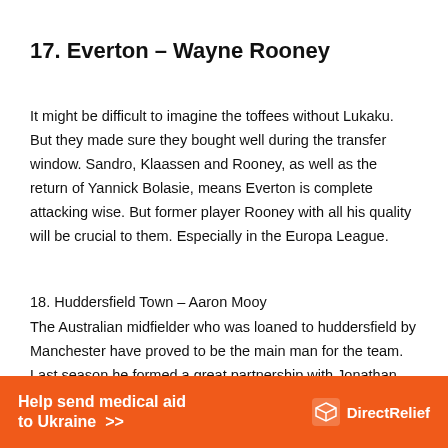17. Everton – Wayne Rooney
It might be difficult to imagine the toffees without Lukaku. But they made sure they bought well during the transfer window. Sandro, Klaassen and Rooney, as well as the return of Yannick Bolasie, means Everton is complete attacking wise. But former player Rooney with all his quality will be crucial to them. Especially in the Europa League.
18. Huddersfield Town – Aaron Mooy
The Australian midfielder who was loaned to huddersfield by Manchester have proved to be the main man for the team. Last season he formed a great partnership with Jonathan
[Figure (infographic): Orange banner advertisement: 'Help send medical aid to Ukraine >>' with Direct Relief logo on the right]